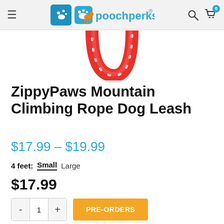poochperks
[Figure (photo): Partial view of a red climbing rope dog leash looped in a U-shape on a white background]
ZippyPaws Mountain Climbing Rope Dog Leash
$17.99 – $19.99
4 feet:  Small  Large
$17.99
- 1 +  PRE-ORDERS